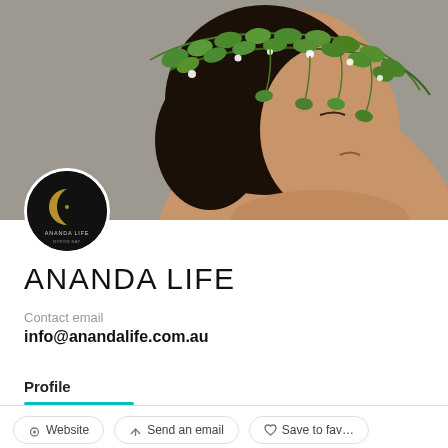[Figure (photo): Banner photo: side profile of a woman with dark hair and floral green leaf crown/wreath, grey background]
[Figure (logo): Ananda Life logo: circular black badge with crescent moon symbol and text ANANDA LIFE BYRON BAY]
ANANDA LIFE
Contact email
info@anandalife.com.au
Profile
Website
Send an email
Save to fav...